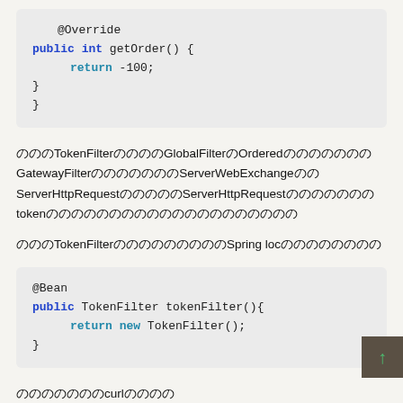@Override
public int getOrder() {
    return -100;
}
}
のののTokenFilterののののGlobalFilterのOrderedのののののののGatewayFilterのののののののServerWebExchangeののServerHttpRequestのののののServerHttpRequestのののののののtokenのののののののののののののののののののの
のののTokenFilterのののののののののSpring locのののののののの
@Bean
public TokenFilter tokenFilter(){
    return new TokenFilter();
}
のののののののcurlのののの